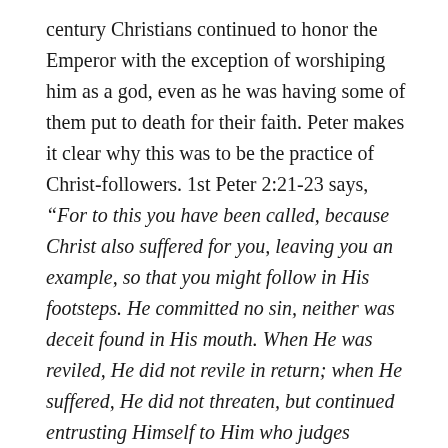century Christians continued to honor the Emperor with the exception of worshiping him as a god, even as he was having some of them put to death for their faith. Peter makes it clear why this was to be the practice of Christ-followers. 1st Peter 2:21-23 says, “For to this you have been called, because Christ also suffered for you, leaving you an example, so that you might follow in His footsteps. He committed no sin, neither was deceit found in His mouth. When He was reviled, He did not revile in return; when He suffered, He did not threaten, but continued entrusting Himself to Him who judges justly.” That is the kind of life that we as Christ-followers are to demonstrate to the world around us.
But what is the purpose in it? Peter also makes that